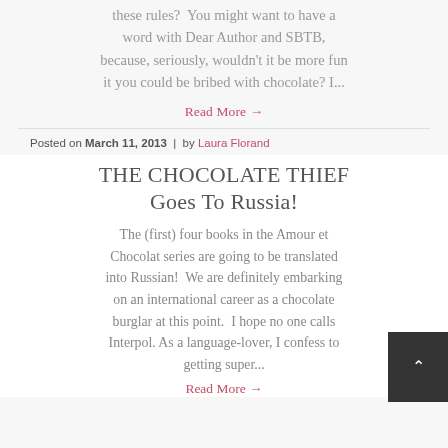these rules?  You might want to have a word with Dear Author and SBTB, because, seriously, wouldn't it be more fun it you could be bribed with chocolate? I...
Read More →
Posted on March 11, 2013  |  by Laura Florand
THE CHOCOLATE THIEF Goes To Russia!
The (first) four books in the Amour et Chocolat series are going to be translated into Russian!  We are definitely embarking on an international career as a chocolate burglar at this point.  I hope no one calls Interpol. As a language-lover, I confess to getting super...
Read More →